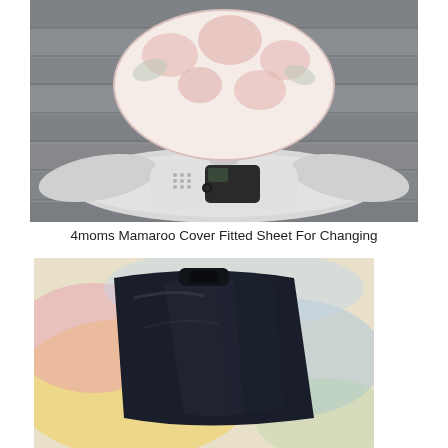[Figure (photo): 4moms Mamaroo baby swing with floral pink and white fabric seat cover on a gray wooden background. The white plastic base shows the 4moms logo and a control panel with display screen.]
4moms Mamaroo Cover Fitted Sheet For Changing
[Figure (photo): Dark navy/black fabric cover or fitted sheet laid on a colorful watercolor-style background with yellow, pink, and blue hues. The item appears to be a Mamaroo seat cover.]